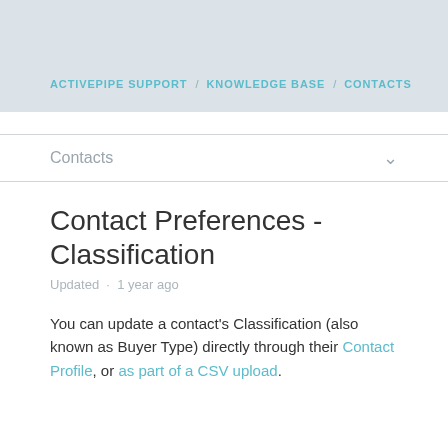ACTIVEPIPE SUPPORT / KNOWLEDGE BASE / CONTACTS
Contacts
Contact Preferences - Classification
Updated · 1 year ago
You can update a contact's Classification (also known as Buyer Type) directly through their Contact Profile, or as part of a CSV upload.